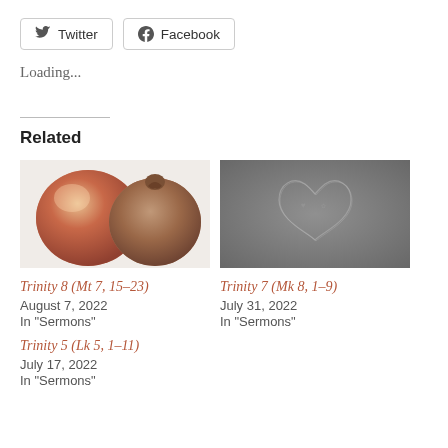Twitter
Facebook
Loading...
Related
[Figure (photo): Two peaches/apples side by side, one fresh and one shriveled/rotten, on a white background]
Trinity 8 (Mt 7, 15–23)
August 7, 2022
In "Sermons"
[Figure (photo): Dark gray background with an embossed or engraved heart shape design in the center]
Trinity 7 (Mk 8, 1–9)
July 31, 2022
In "Sermons"
Trinity 5 (Lk 5, 1–11)
July 17, 2022
In "Sermons"